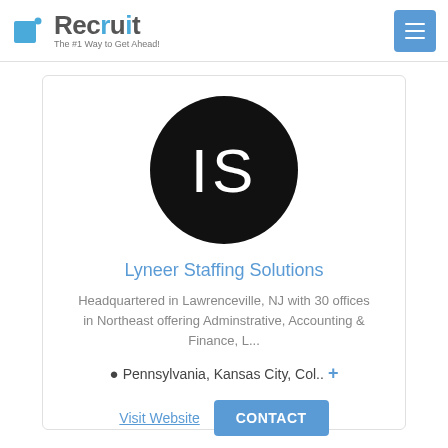Recruit – The #1 Way to Get Ahead!
[Figure (logo): Black circle with white initials 'IS' representing Lyneer Staffing Solutions company logo]
Lyneer Staffing Solutions
Headquartered in Lawrenceville, NJ with 30 offices in Northeast offering Adminstrative, Accounting & Finance, L...
Pennsylvania, Kansas City, Col.. +
Visit Website  CONTACT